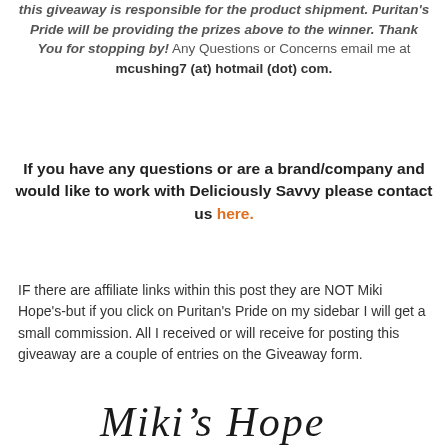this giveaway is responsible for the product shipment. Puritan's Pride will be providing the prizes above to the winner. Thank You for stopping by! Any Questions or Concerns email me at mcushing7 (at) hotmail (dot) com.
If you have any questions or are a brand/company and would like to work with Deliciously Savvy please contact us here.
IF there are affiliate links within this post they are NOT Miki Hope's-but if you click on Puritan's Pride on my sidebar I will get a small commission. All I received or will receive for posting this giveaway are a couple of entries on the Giveaway form.
[Figure (illustration): Cursive signature reading Miki's Hope]